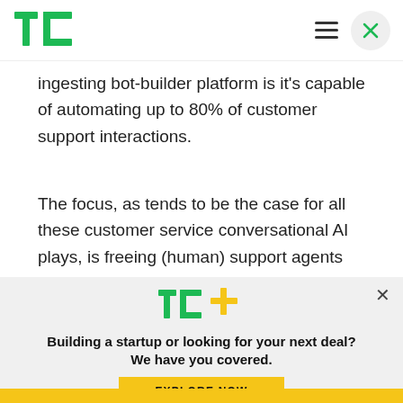TechCrunch logo and navigation
ingesting bot-builder platform is it's capable of automating up to 80% of customer support interactions.
The focus, as tends to be the case for all these customer service conversational AI plays, is freeing (human) support agents from dealing with dull, repetitive stuff — so they can apply their (less
[Figure (logo): TC+ logo with green TC and yellow plus sign]
Building a startup or looking for your next deal? We have you covered.
EXPLORE NOW